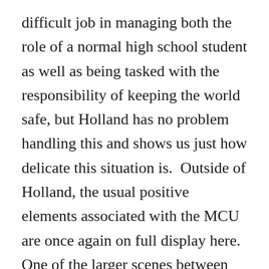difficult job in managing both the role of a normal high school student as well as being tasked with the responsibility of keeping the world safe, but Holland has no problem handling this and shows us just how delicate this situation is.  Outside of Holland, the usual positive elements associated with the MCU are once again on full display here.  One of the larger scenes between Spider-Man and Mysterio (Jake Gyllenhaal), another hero recruited by Fury to save the world, in the second half of the movie is legitimately one of the most impressive scenes of the year and provides a quality balance between the emotional weight of the